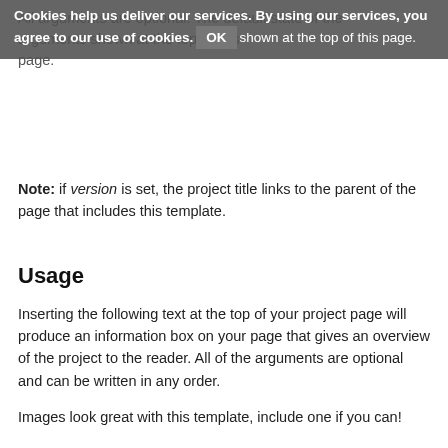All arguments are optional. The default state of the arguments shown at the top of this page.
Cookies help us deliver our services. By using our services, you agree to our use of cookies. OK
Note: if version is set, the project title links to the parent of the page that includes this template.
Usage
Inserting the following text at the top of your project page will produce an information box on your page that gives an overview of the project to the reader. All of the arguments are optional and can be written in any order.
Images look great with this template, include one if you can!